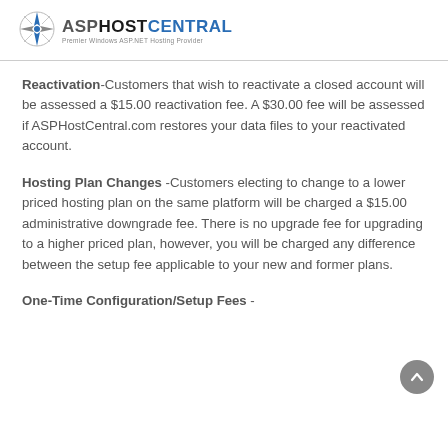[Figure (logo): ASPHostCentral logo — compass-star icon on the left, text 'ASPHOSTCENTRAL' with tagline 'Premier Windows ASP.NET Hosting Provider']
Reactivation-Customers that wish to reactivate a closed account will be assessed a $15.00 reactivation fee. A $30.00 fee will be assessed if ASPHostCentral.com restores your data files to your reactivated account.
Hosting Plan Changes -Customers electing to change to a lower priced hosting plan on the same platform will be charged a $15.00 administrative downgrade fee. There is no upgrade fee for upgrading to a higher priced plan, however, you will be charged any difference between the setup fee applicable to your new and former plans.
One-Time Configuration/Setup Fees -